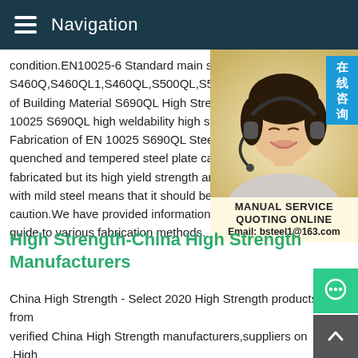Navigation
condition.EN10025-6 Standard main steel S460Q,S460QL1,S460QL,S500QL,S500Q... of Building Material S690QL High Strength 10025 S690QL high weldability high strength Fabrication of EN 10025 S690QL Steel Plate quenched and tempered steel plate can be fabricated but its high yield strength and tensile with mild steel means that it should be treated with caution.We have provided information which guide to various fabrication methods.
[Figure (photo): Customer service representative wearing a headset, smiling. Overlay shows 'MANUAL SERVICE', 'QUOTING ONLINE', 'Email: bsteel1@163.com' and Chinese text badge '在线咨询'.]
High Strength-China High Strength Manufacturers
China High Strength - Select 2020 High Strength products from verified China High Strength manufacturers,suppliers on .High Strength Steels Scientific.NetBuilding Materials General Engineering,Mechanical Engineering,Bioengineering and Medicine...